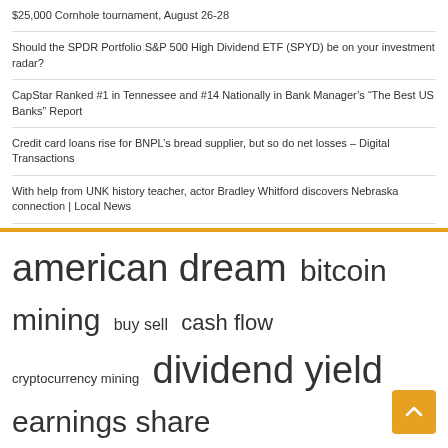$25,000 Cornhole tournament, August 26-28
Should the SPDR Portfolio S&P 500 High Dividend ETF (SPYD) be on your investment radar?
CapStar Ranked #1 in Tennessee and #14 Nationally in Bank Manager’s “The Best US Banks” Report
Credit card loans rise for BNPL’s bread supplier, but so do net losses – Digital Transactions
With help from UNK history teacher, actor Bradley Whitford discovers Nebraska connection | Local News
american dream  bitcoin mining  buy sell  cash flow  cryptocurrency mining  dividend yield  earnings share  editorial team  financial situation  holding company  interest rates  long term  payout ratio  press release  united states